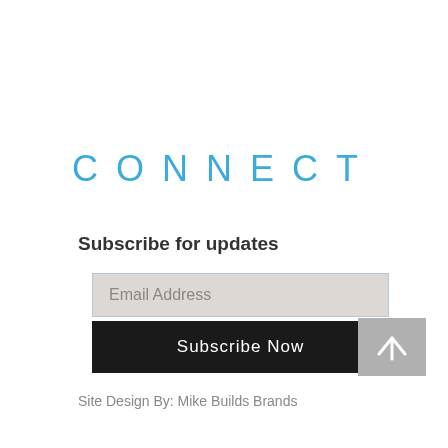CONNECT
Subscribe for updates
Email Address
Subscribe Now
Site Design By: Mike Builds Brands